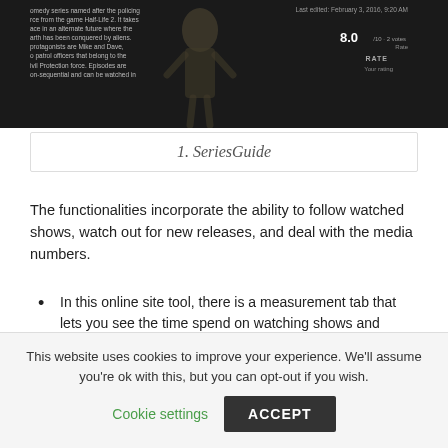[Figure (screenshot): Dark-themed screenshot of SeriesGuide app showing a TV series page with rating 8.0, last edited February 3, 2016. Text on left describes a sci-fi series with protagonists Mike and Dave as patrol officers. Shows RATE and Your rating labels.]
1. SeriesGuide
The functionalities incorporate the ability to follow watched shows, watch out for new releases, and deal with the media numbers.
In this online site tool, there is a measurement tab that lets you see the time spend on watching shows and motion pictures.
The application likewise offers a dark topic to uphold. It is available for the exceptional variant, which costs two or three bucks to open all highlights.
This website uses cookies to improve your experience. We'll assume you're ok with this, but you can opt-out if you wish.